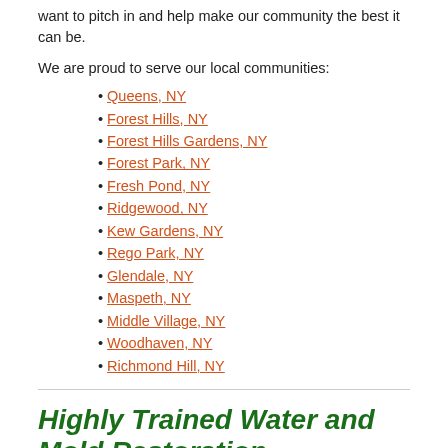want to pitch in and help make our community the best it can be.
We are proud to serve our local communities:
Queens, NY
Forest Hills, NY
Forest Hills Gardens, NY
Forest Park, NY
Fresh Pond, NY
Ridgewood, NY
Kew Gardens, NY
Rego Park, NY
Glendale, NY
Maspeth, NY
Middle Village, NY
Woodhaven, NY
Richmond Hill, NY
Highly Trained Water and Mold Restoration Specialists
As water and mold damage specialists, we have the experience, the expertise, and the advanced training that